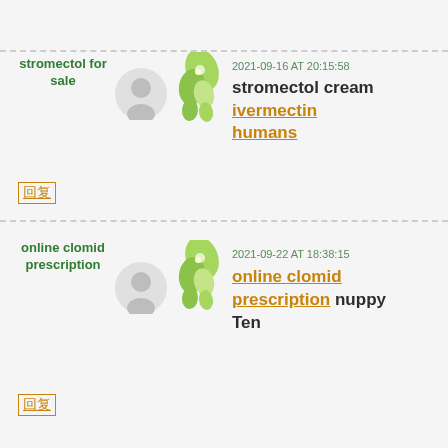stromectol for sale
2021-09-16 AT 20:15:58
stromectol cream ivermectin humans
回复
online clomid prescription
2021-09-22 AT 18:38:15
online clomid prescription nuppy Ten
回复